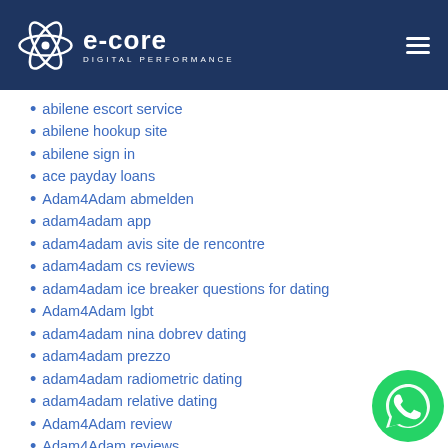e-core DIGITAL PERFORMANCE
abilene escort service
abilene hookup site
abilene sign in
ace payday loans
Adam4Adam abmelden
adam4adam app
adam4adam avis site de rencontre
adam4adam cs reviews
adam4adam ice breaker questions for dating
Adam4Adam lgbt
adam4adam nina dobrev dating
adam4adam prezzo
adam4adam radiometric dating
adam4adam relative dating
Adam4Adam review
Adam4Adam reviews
Adam4adam siteyi buradan ziyaret edin
adam4adam uzivatelske jmeno
adam4adam Veut discuter
adam4adam-overzicht Dating
Adelaide+Australia app
[Figure (logo): WhatsApp chat bubble icon in green, bottom right corner]